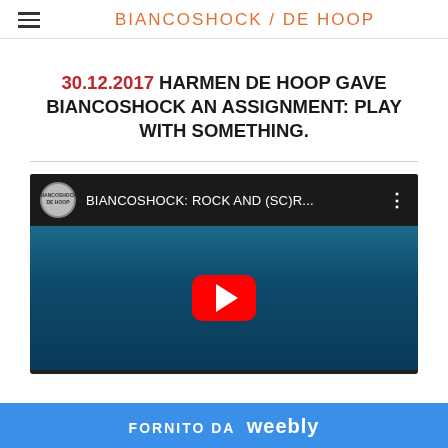BIANCOSHOCK / DE HOOP
30.12.2017 HARMEN DE HOOP GAVE BIANCOSHOCK AN ASSIGNMENT: PLAY WITH SOMETHING.
[Figure (screenshot): YouTube video embed showing 'BIANCOSHOCK: ROCK AND (SC)R...' with red play button on dark teal background, channel icon showing BIANCOSHOCK DE HOOP logo]
FORNITO DA weebly